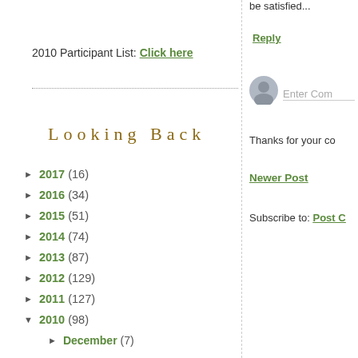2010 Participant List: Click here
Looking Back
▶ 2017 (16)
▶ 2016 (34)
▶ 2015 (51)
▶ 2014 (74)
▶ 2013 (87)
▶ 2012 (129)
▶ 2011 (127)
▼ 2010 (98)
▶ December (7)
be satisfied...
Reply
Enter Com...
Thanks for your co...
Newer Post
Subscribe to: Post C...